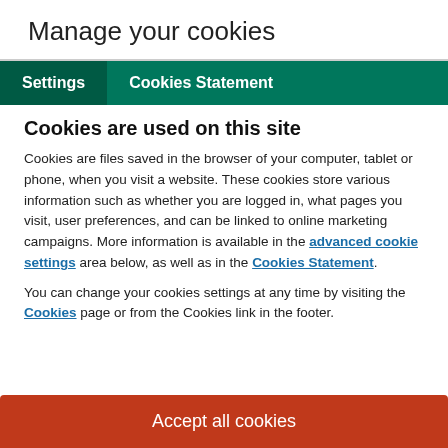Manage your cookies
Settings   Cookies Statement
Cookies are used on this site
Cookies are files saved in the browser of your computer, tablet or phone, when you visit a website. These cookies store various information such as whether you are logged in, what pages you visit, user preferences, and can be linked to online marketing campaigns. More information is available in the advanced cookie settings area below, as well as in the Cookies Statement.
You can change your cookies settings at any time by visiting the Cookies page or from the Cookies link in the footer.
Accept all cookies